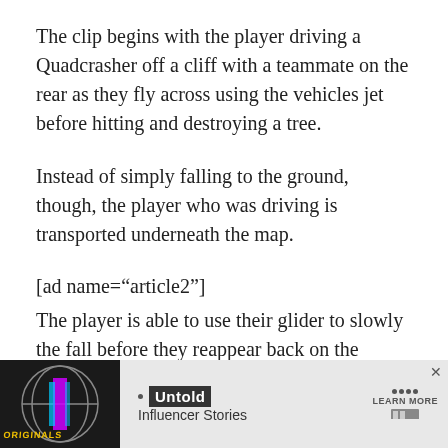The clip begins with the player driving a Quadcrasher off a cliff with a teammate on the rear as they fly across using the vehicles jet before hitting and destroying a tree.
Instead of simply falling to the ground, though, the player who was driving is transported underneath the map.
[ad name="article2"]
The player is able to use their glider to slowly the fall before they reappear back on the regular map as if nothing had happened at all.
[Figure (infographic): Advertisement banner featuring Originals logo on dark background, bullet point, Untold Influencer Stories text, and Learn More button with dots]